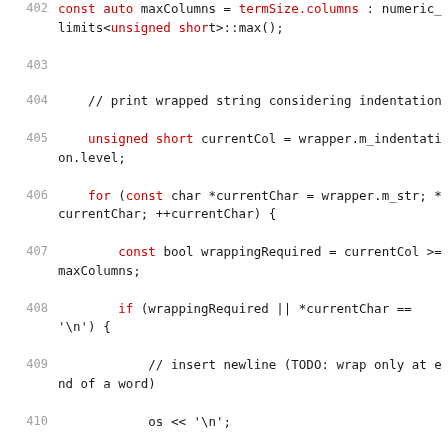[Figure (screenshot): Source code screenshot showing C++ code lines 402-414, with line numbers in gray and keywords in red, on a white background.]